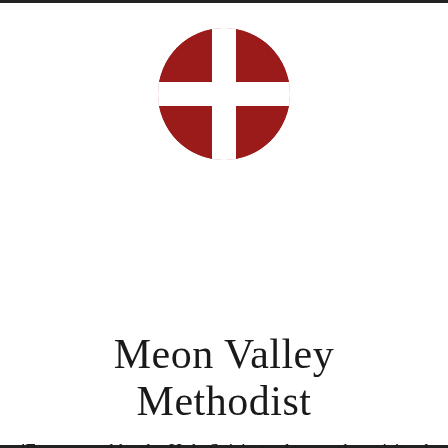[Figure (logo): Methodist cross and flame logo: a dark red circle divided by a white cross into four quadrants]
Meon Valley Methodist
'Empowered by the Holy Spirit, to deepen the spiritual life of our fellowships and to encourage everyone to share the gospel'
≡ MENU